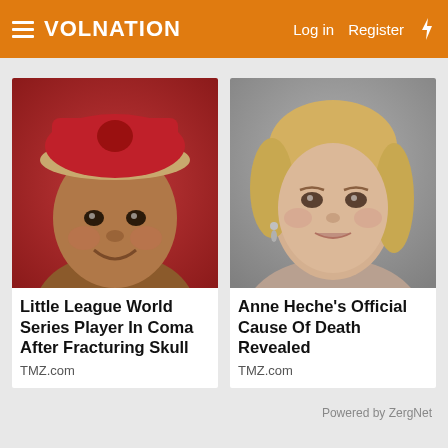VolNation  Log in  Register
[Figure (photo): Young boy wearing a red baseball cap with a yellow/tan brim, smiling, against a red/pink background]
Little League World Series Player In Coma After Fracturing Skull
TMZ.com
[Figure (photo): Blonde woman smiling, wearing earrings, against a grey background — Anne Heche]
Anne Heche's Official Cause Of Death Revealed
TMZ.com
Powered by ZergNet